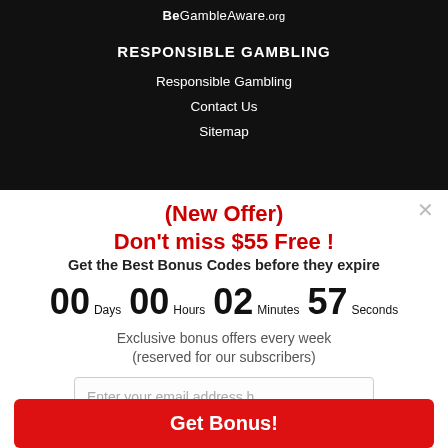BeGambleAware.org
RESPONSIBLE GAMBLING
Responsible Gambling
Contact Us
Sitemap
(New Offer)
Don't miss $55 Free !
Get the Best Bonus Codes before they expire
00 Days  00 Hours  02 Minutes  57 Seconds
Exclusive bonus offers every week
(reserved for our subscribers)
Enter your email address h
Get Bonus!